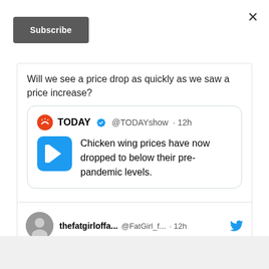[Figure (screenshot): Close button (×) in top-right corner of a modal]
[Figure (screenshot): Subscribe button — dark gray rounded rectangle]
Will we see a price drop as quickly as we saw a price increase?
[Figure (screenshot): Embedded tweet from TODAY @TODAYshow · 12h with play icon: Chicken wing prices have now dropped to below their pre-pandemic levels.]
[Figure (screenshot): Tweet action icons: comment and heart]
[Figure (screenshot): Second tweet row: thefatgirloffa... @FatGirl_f... · 12h with Twitter bird icon and avatar]